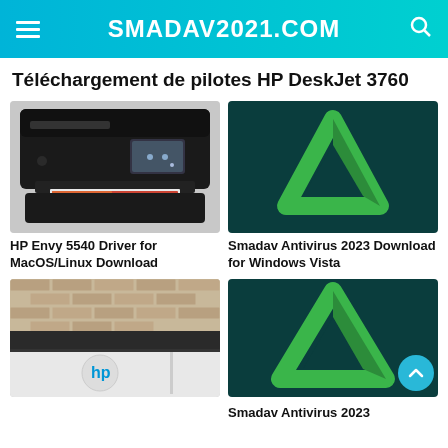SMADAV2021.COM
Téléchargement de pilotes HP DeskJet 3760
[Figure (photo): HP Envy 5540 all-in-one inkjet printer, black, printing a photo]
HP Envy 5540 Driver for MacOS/Linux Download
[Figure (logo): Smadav antivirus logo — green triangular arrow on dark teal background]
Smadav Antivirus 2023 Download for Windows Vista
[Figure (photo): HP printer close-up with HP logo on white casing, brick wall background]
[Figure (logo): Smadav antivirus logo — green triangular arrow on dark teal background]
Smadav Antivirus 2023